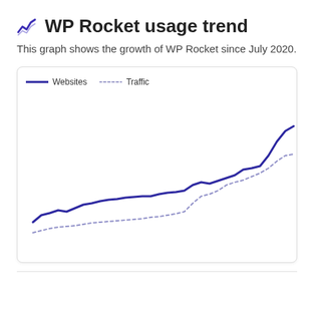WP Rocket usage trend
This graph shows the growth of WP Rocket since July 2020.
[Figure (line-chart): Two-line chart showing upward growth trends for Websites (solid dark line) and Traffic (dotted lighter line) from July 2020 onwards. Both lines trend upward overall with Websites rising more steeply toward the right end.]